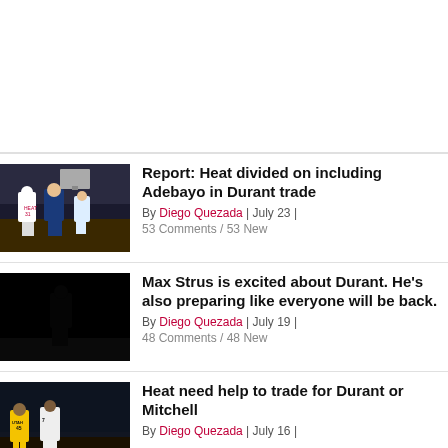[Figure (photo): Top section white spacer area]
[Figure (photo): Basketball players on court - Heat vs opponent, players in white Heat jerseys and blue jerseys]
Report: Heat divided on including Adebayo in Durant trade
By Diego Quezada | July 23 | 53 Comments / 53 New
[Figure (photo): Dark/black basketball photo]
Max Strus is excited about Durant. He's also preparing like everyone will be back.
By Diego Quezada | July 19 | 48 Comments / 48 New
[Figure (photo): Basketball players, Utah Jazz player #45 and Brooklyn Nets player #7 on court]
Heat need help to trade for Durant or Mitchell
By Diego Quezada | July 16 |